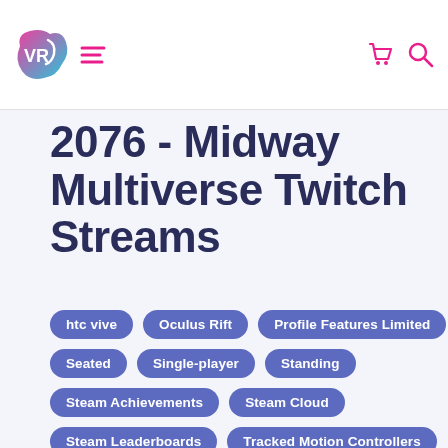VR logo, menu icon, cart icon, search icon
2076 - Midway Multiverse Twitch Streams
htc vive
Oculus Rift
Profile Features Limited
Seated
Single-player
Standing
Steam Achievements
Steam Cloud
Steam Leaderboards
Tracked Motion Controllers
valve index
windows mixed reality